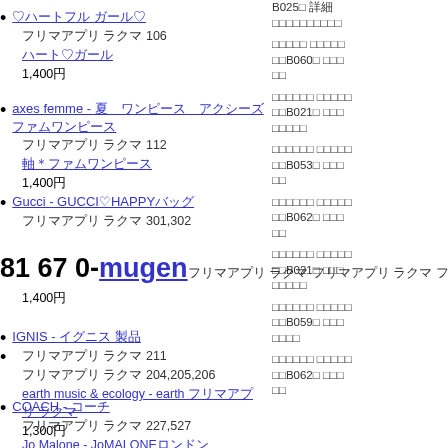♡ハートフル ガール♡ - フリマアプリ ラクマ 106 ハート♡ガール 1,400円
axes femme - 夏 ワンピース アクシーズファムワンピース - フリマアプリ ラクマ 112 軸＊ファムワンピース 1,400円
Gucci - GUCCI♡HAPPYバッグ - フリマアプリ ラクマ 301,302 mugen 25 円 1,400円
IGNIS - イグニス 製品 - フリマアプリ ラクマ 211 204,205,206 earth music & ecology - earth ミュージック 1,300円
COACH - コーチ バッグ - フリマアプリ ラクマ 227,527 Jo Malone - JoMALONE ロンドン LimeBasil&Mandarin 9m 1,400円
B025 詳細 情報テキスト B060 詳細 B021 詳細 B053 詳細 B062 詳細 B021 詳細 B059 詳細 B062 詳細